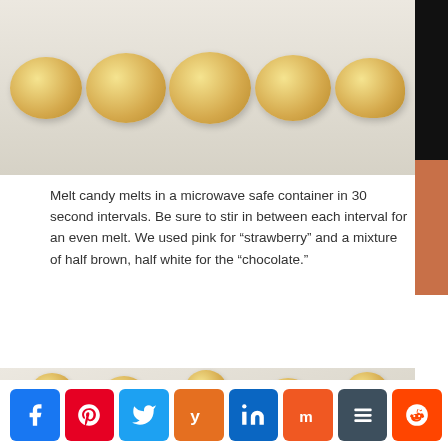[Figure (photo): Row of golden dough balls on a white surface viewed from above]
Melt candy melts in a microwave safe container in 30 second intervals. Be sure to stir in between each interval for an even melt. We used pink for “strawberry” and a mixture of half brown, half white for the “chocolate.”
[Figure (photo): Scattered golden dough balls on parchment paper with a bowl of melted chocolate and a bowl of pink candy melt]
[Figure (other): Social sharing buttons: Facebook, Pinterest, Twitter, Yummly, LinkedIn, Mix, Buffer, Reddit]